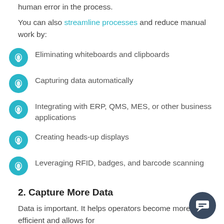human error in the process.
You can also streamline processes and reduce manual work by:
Eliminating whiteboards and clipboards
Capturing data automatically
Integrating with ERP, QMS, MES, or other business applications
Creating heads-up displays
Leveraging RFID, badges, and barcode scanning
2. Capture More Data
Data is important. It helps operators become more efficient and allows for